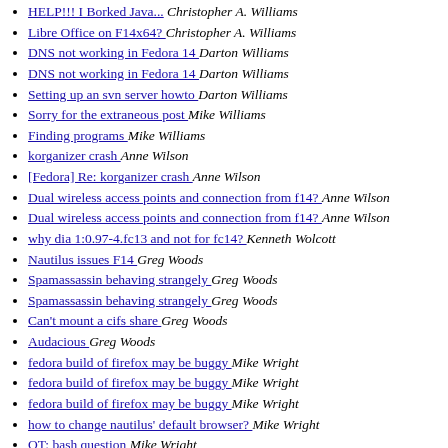HELP!!! I Borked Java... Christopher A. Williams
Libre Office on F14x64? Christopher A. Williams
DNS not working in Fedora 14 Darton Williams
DNS not working in Fedora 14 Darton Williams
Setting up an svn server howto Darton Williams
Sorry for the extraneous post Mike Williams
Finding programs Mike Williams
korganizer crash Anne Wilson
[Fedora] Re: korganizer crash Anne Wilson
Dual wireless access points and connection from f14? Anne Wilson
Dual wireless access points and connection from f14? Anne Wilson
why dia 1:0.97-4.fc13 and not for fc14? Kenneth Wolcott
Nautilus issues F14 Greg Woods
Spamassassin behaving strangely Greg Woods
Spamassassin behaving strangely Greg Woods
Can't mount a cifs share Greg Woods
Audacious Greg Woods
fedora build of firefox may be buggy Mike Wright
fedora build of firefox may be buggy Mike Wright
fedora build of firefox may be buggy Mike Wright
how to change nautilus' default browser? Mike Wright
OT: bash question Mike Wright
OT: bash question Mike Wright
OT: bash question Mike Wright